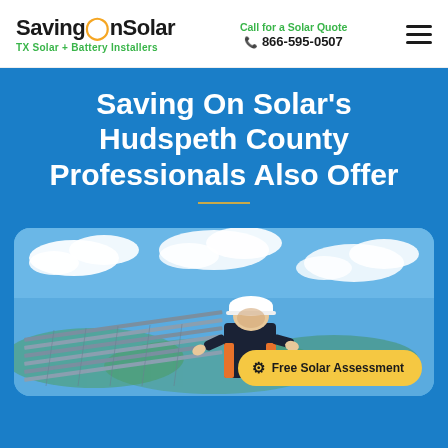SavingOnSolar | TX Solar + Battery Installers | Call for a Solar Quote | 866-595-0507
Saving On Solar's Hudspeth County Professionals Also Offer
[Figure (photo): Solar installer/worker on a rooftop with blue sky and clouds background, wearing a white hard hat and dark work uniform. Yellow 'Free Solar Assessment' CTA button in bottom right.]